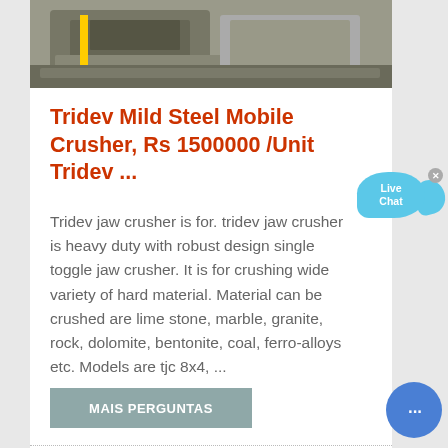[Figure (photo): Mobile jaw crusher machine photographed at a site, showing heavy machinery in a quarry/outdoor setting]
Tridev Mild Steel Mobile Crusher, Rs 1500000 /Unit Tridev ...
Tridev jaw crusher is for. tridev jaw crusher is heavy duty with robust design single toggle jaw crusher. It is for crushing wide variety of hard material. Material can be crushed are lime stone, marble, granite, rock, dolomite, bentonite, coal, ferro-alloys etc. Models are tjc 8x4, ...
MAIS PERGUNTAS